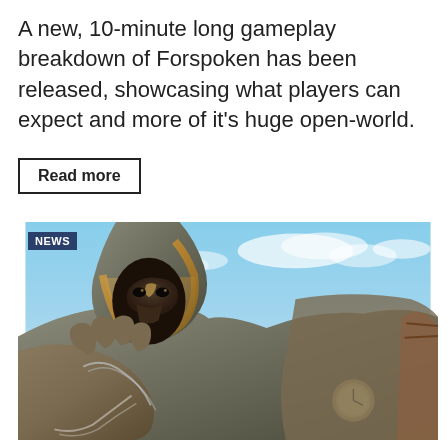A new, 10-minute long gameplay breakdown of Forspoken has been released, showcasing what players can expect and more of it's huge open-world.
Read more
[Figure (photo): A close-up screenshot from the game Forspoken showing a hooded armored figure with a bird-like mask face low-angle against a blue sky background, with a NEWS badge overlay in the top-left corner.]